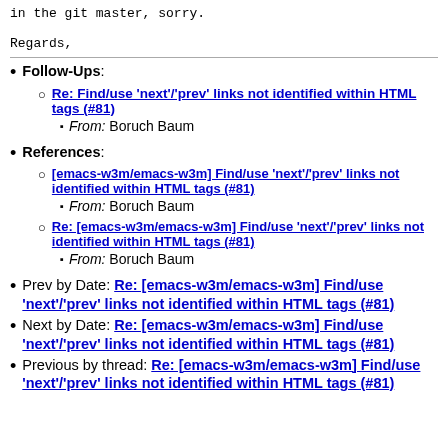in the git master, sorry.

Regards,
Follow-Ups: Re: Find/use 'next'/'prev' links not identified within HTML tags (#81) — From: Boruch Baum
References: [emacs-w3m/emacs-w3m] Find/use 'next'/'prev' links not identified within HTML tags (#81) — From: Boruch Baum; Re: [emacs-w3m/emacs-w3m] Find/use 'next'/'prev' links not identified within HTML tags (#81) — From: Boruch Baum
Prev by Date: Re: [emacs-w3m/emacs-w3m] Find/use 'next'/'prev' links not identified within HTML tags (#81)
Next by Date: Re: [emacs-w3m/emacs-w3m] Find/use 'next'/'prev' links not identified within HTML tags (#81)
Previous by thread: Re: [emacs-w3m/emacs-w3m] Find/use 'next'/'prev' links not identified within HTML tags (#81)